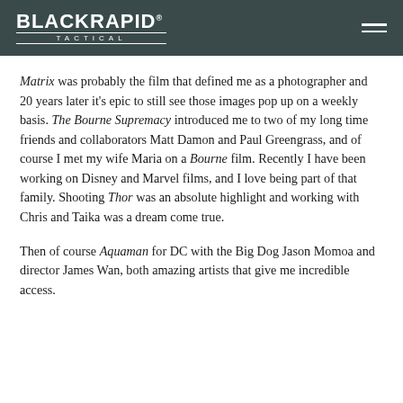BLACKRAPID TACTICAL
Matrix was probably the film that defined me as a photographer and 20 years later it's epic to still see those images pop up on a weekly basis. The Bourne Supremacy introduced me to two of my long time friends and collaborators Matt Damon and Paul Greengrass, and of course I met my wife Maria on a Bourne film. Recently I have been working on Disney and Marvel films, and I love being part of that family. Shooting Thor was an absolute highlight and working with Chris and Taika was a dream come true.
Then of course Aquaman for DC with the Big Dog Jason Momoa and director James Wan, both amazing artists that give me incredible access.